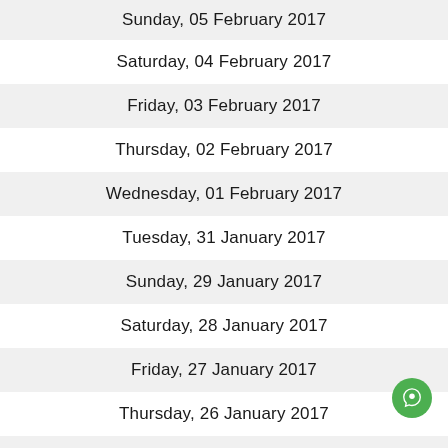Sunday, 05 February 2017
Saturday, 04 February 2017
Friday, 03 February 2017
Thursday, 02 February 2017
Wednesday, 01 February 2017
Tuesday, 31 January 2017
Sunday, 29 January 2017
Saturday, 28 January 2017
Friday, 27 January 2017
Thursday, 26 January 2017